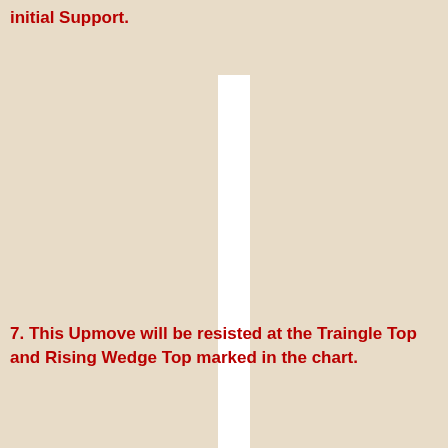initial Support.
[Figure (other): White vertical bar (divider/page break) centered on page, upper portion]
7. This Upmove will be resisted at the Traingle Top and Rising Wedge Top marked in the chart.
[Figure (other): White vertical bar (divider/page break) centered on page, lower portion]